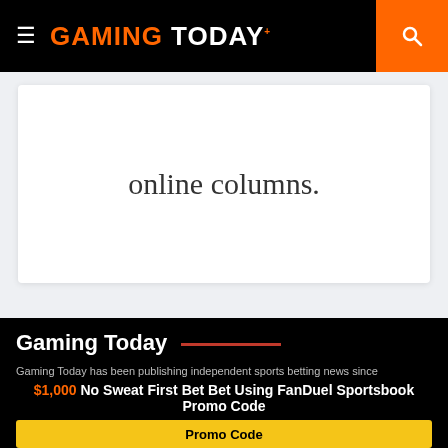GAMING TODAY
online columns.
Get connected with us on Social Media
[Figure (other): Social media icons: Facebook, Twitter, YouTube, Email]
Gaming Today
Gaming Today has been publishing independent sports betting news since
$1,000 No Sweat First Bet Bet Using FanDuel Sportsbook Promo Code
Promo Code